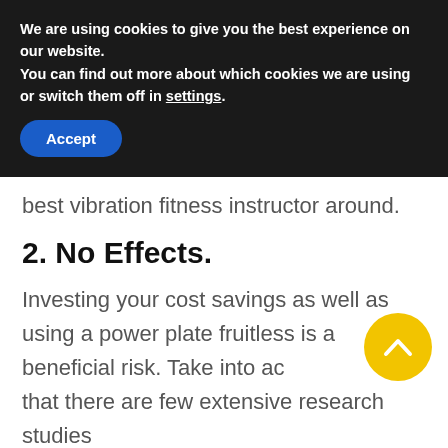We are using cookies to give you the best experience on our website.
You can find out more about which cookies we are using or switch them off in settings.
Accept
best vibration fitness instructor around.
2. No Effects.
Investing your cost savings as well as using a power plate fruitless is a beneficial risk. Take into account that there are few extensive research studies on vibration plates, although there are lots of positive
[Figure (other): Yellow circular scroll-to-top button with an upward chevron arrow]
[Figure (other): Indeed advertisement banner: 'Spend less time hiring more people.']